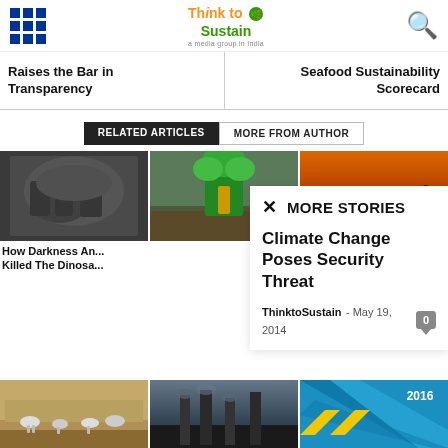Think to Sustain
Raises the Bar in Transparency
Seafood Sustainability Scorecard
RELATED ARTICLES | MORE FROM AUTHOR
[Figure (photo): Dinosaur skull fossil - dark metallic]
[Figure (photo): Small green plant seedling growing from rolled banknote in soil]
[Figure (photo): Silhouette of person on camel at sunset orange sky]
How Darkness An... Killed The Dinosa...
× MORE STORIES
Climate Change Poses Security Threat
ThinktoSustain - May 19, 2014
[Figure (photo): Goats and livestock in dry arid landscape]
[Figure (photo): Industrial factory smokestacks at dusk]
[Figure (photo): Blue chevron pattern with 2016 text]